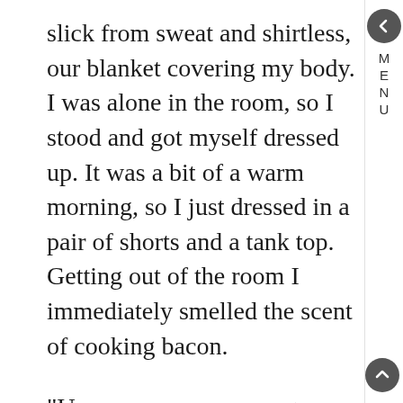slick from sweat and shirtless, our blanket covering my body. I was alone in the room, so I stood and got myself dressed up. It was a bit of a warm morning, so I just dressed in a pair of shorts and a tank top. Getting out of the room I immediately smelled the scent of cooking bacon.
"Uy pre, sarap naman ng luto." I said loudly, looking to the kitchen to see Miko on the stove, frying some bacon and eggs. Looking round I saw Gail sitting on the dinner table, still dressed in the clothes from last night, her head in her hand.